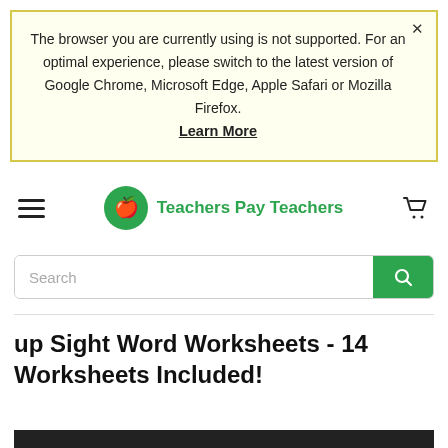The browser you are currently using is not supported. For an optimal experience, please switch to the latest version of Google Chrome, Microsoft Edge, Apple Safari or Mozilla Firefox. Learn More
[Figure (logo): Teachers Pay Teachers logo with green apple circle icon and green text]
Search
up Sight Word Worksheets - 14 Worksheets Included!